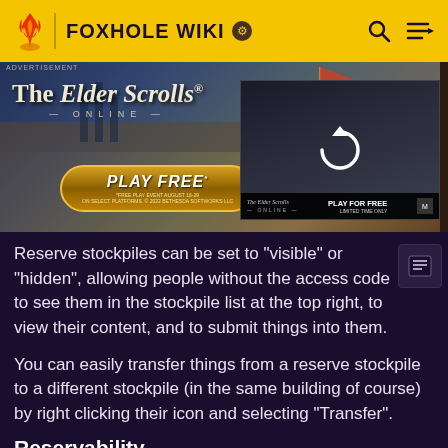FOXHOLE WIKI
[Figure (photo): Advertisement banner for The Elder Scrolls Online - Play Free event, showing armored characters and a video panel with play for free limited time offer]
Reserve stockpiles can be set to "visible" or "hidden", allowing people without the access code to see them in the stockpile list at the top right, to view their content, and to submit things into them.
You can easily transfer things from a reserve stockpile to a different stockpile (in the same building of course) by right clicking their icon and selecting "Transfer".
Reservability